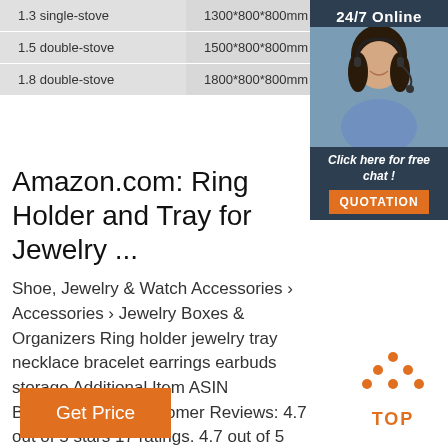| Model | Size | Spec |
| --- | --- | --- |
| 1.3 single-stove | 1300*800*800mm | 2m³/h/stove (gas) |
| 1.5 double-stove | 1500*800*800mm |  |
| 1.8 double-stove | 1800*800*800mm |  |
[Figure (photo): 24/7 Online chat widget with customer service representative photo and orange QUOTATION button]
Amazon.com: Ring Holder and Tray for Jewelry ...
Shoe, Jewelry & Watch Accessories › Accessories › Jewelry Boxes & Organizers Ring holder jewelry tray necklace bracelet earrings earbuds storage Additional Item ASIN B07W6K3MLM Customer Reviews: 4.7 out of 5 stars 17 ratings. 4.7 out of 5 stars
[Figure (logo): TOP icon with orange dots arrow and TOP text]
Get Price